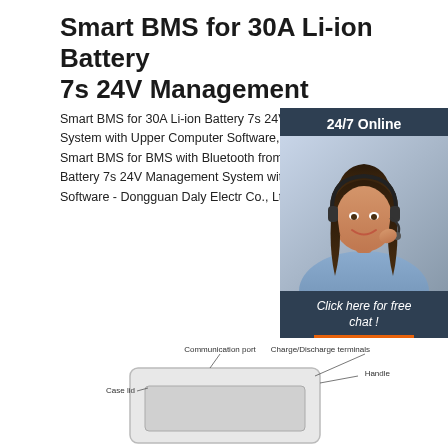Smart BMS for 30A Li-ion Battery 7s 24V Management
Smart BMS for 30A Li-ion Battery 7s 24V Management System with Upper Computer Software, Find Details about Smart BMS for BMS with Bluetooth from Smart BMS for 30 Battery 7s 24V Management System with U Computer Software - Dongguan Daly Electr Co., Ltd.
[Figure (photo): Customer service representative wearing headset, with '24/7 Online' header, 'Click here for free chat!' text, and orange QUOTATION button on dark blue background]
[Figure (schematic): Product diagram showing BMS device with labeled parts: Communication port, Case lid, Charge/Discharge terminals, Handle]